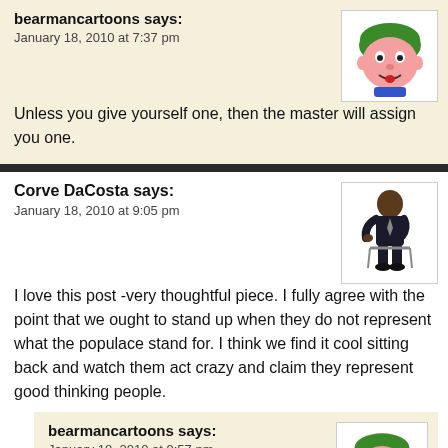bearmancartoons says:
January 18, 2010 at 7:37 pm
Unless you give yourself one, then the master will assign you one.
Corve DaCosta says:
January 18, 2010 at 9:05 pm
I love this post -very thoughtful piece. I fully agree with the point that we ought to stand up when they do not represent what the populace stand for. I think we find it cool sitting back and watch them act crazy and claim they represent good thinking people.
bearmancartoons says:
January 18, 2010 at 9:57 pm